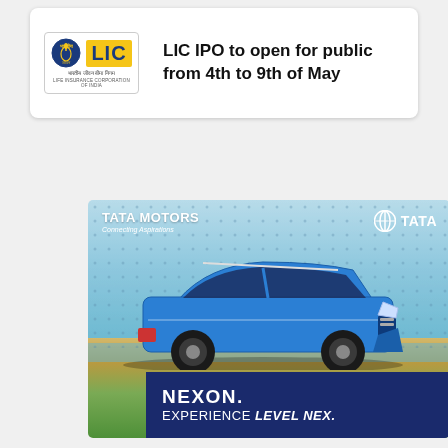[Figure (logo): LIC (Life Insurance Corporation of India) logo with blue emblem, yellow LIC text box, Hindi text and English subtitle]
LIC IPO to open for public from 4th to 9th of May
[Figure (photo): Tata Motors advertisement showing a blue Tata Nexon SUV driving on a road with sky background, dotted pattern overlay. Header: TATA MOTORS Connecting Aspirations and TATA logo on right. Bottom banner: NEXON. EXPERIENCE LEVEL NEX.]